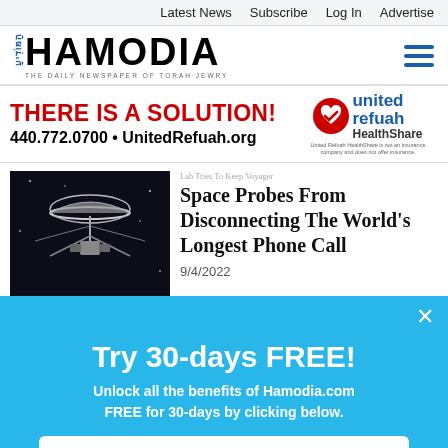Latest News  Subscribe  Log In  Advertise
[Figure (logo): Hamodia newspaper logo — THE DAILY NEWSPAPER OF TORAH JEWRY]
[Figure (infographic): United Refuah HealthShare advertisement: THERE IS A SOLUTION! 440.772.0700 • UnitedRefuah.org. United Refuah HealthShare is not an insurance company and does not offer insurance.]
[Figure (photo): Black and white photo of a Voyager space probe against dark background]
Lab Tries To Keep Voyager Space Probes From Disconnecting The World's Longest Phone Call
9/4/2022
[Figure (photo): Partially visible photo of what appears to be a stroller or baby carriage outdoors]
Try 30-days FREE! Unlock all the benefits of Hamodia.com FREE for 30-days by clicking below. Start Your Trial →